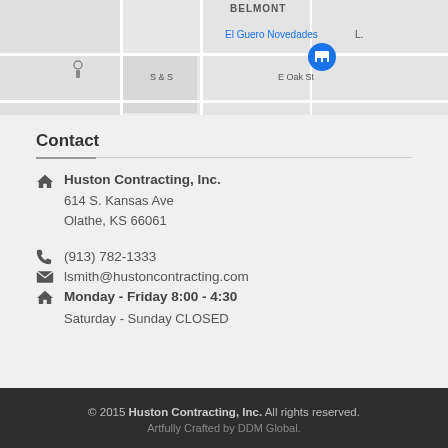[Figure (map): Google map snippet showing area around Olathe, KS with street labels: BELMONT, El Guero Novedades, S & S, E Oak St, and a map pin icon.]
Contact
Huston Contracting, Inc.
614 S. Kansas Ave
Olathe, KS 66061
(913) 782-1333
lsmith@hustoncontracting.com
Monday - Friday 8:00 - 4:30
Saturday - Sunday CLOSED
© 2015 Huston Contracting, Inc. All rights reserved.
Artfully Crafted by DDM Global.